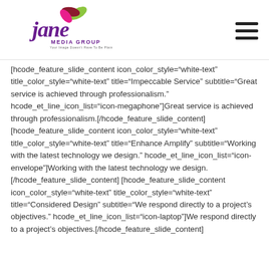Jane Media Group — Your Image Doesn't Have To Be Plain
[hcode_feature_slide_content icon_color_style="white-text" title_color_style="white-text" title="Impeccable Service" subtitle="Great service is achieved through professionalism." hcode_et_line_icon_list="icon-megaphone"]Great service is achieved through professionalism.[/hcode_feature_slide_content] [hcode_feature_slide_content icon_color_style="white-text" title_color_style="white-text" title="Enhance Amplify" subtitle="Working with the latest technology we design." hcode_et_line_icon_list="icon-envelope"]Working with the latest technology we design.[/hcode_feature_slide_content] [hcode_feature_slide_content icon_color_style="white-text" title_color_style="white-text" title="Considered Design" subtitle="We respond directly to a project's objectives." hcode_et_line_icon_list="icon-laptop"]We respond directly to a project's objectives.[/hcode_feature_slide_content]